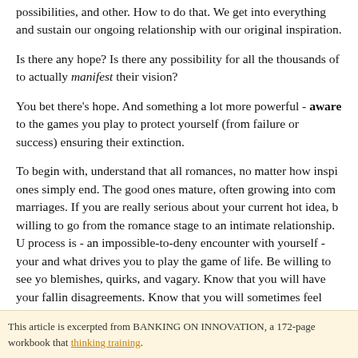possibilities, and other. How to do that. We get into everything and sustain our ongoing relationship with our original inspiration.
Is there any hope? Is there any possibility for all the thousands of to actually manifest their vision?
You bet there's hope. And something a lot more powerful - awareness to the games you play to protect yourself (from failure or success) ensuring their extinction.
To begin with, understand that all romances, no matter how inspiring, ones simply end. The good ones mature, often growing into companionate marriages. If you are really serious about your current hot idea, be willing to go from the romance stage to an intimate relationship. The process is - an impossible-to-deny encounter with yourself - your and what drives you to play the game of life. Be willing to see your blemishes, quirks, and vagary. Know that you will have your fallings, disagreements. Know that you will sometimes feel like a fraud. Know creative breakthroughs has not only been passion, purpose, and conflict, and collapse. It's normal. It's human. It's part of the process.
So please, be gentle with yourself. Be patient. Breathe deep. And day or night, rich or poor, male or female, manager or managee - relationship to creativity.
This article is excerpted from BANKING ON INNOVATION, a 172-page workbook that thinking training.